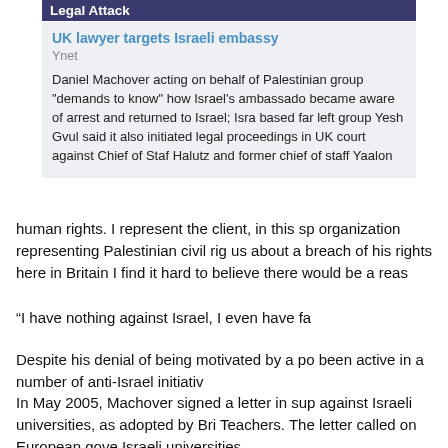Legal Attack
UK lawyer targets Israeli embassy
Ynet
Daniel Machover acting on behalf of Palestinian group "demands to know" how Israel's ambassador became aware of arrest and returned to Israel; Israel-based far left group Yesh Gvul said it also initiated legal proceedings in UK court against Chief of Staff Halutz and former chief of staff Yaalon
human rights. I represent the client, in this sp organization representing Palestinian civil rig us about a breach of his rights here in Britain I find it hard to believe there would be a reas
“I have nothing against Israel, I even have fa
Despite his denial of being motivated by a po been active in a number of anti-Israel initiativ
In May 2005, Machover signed a letter in sup against Israeli universities, as adopted by Bri Teachers. The letter called on European gove Israeli universities.
In October 2000, Machover signed a letter wh process to “apartheid.”